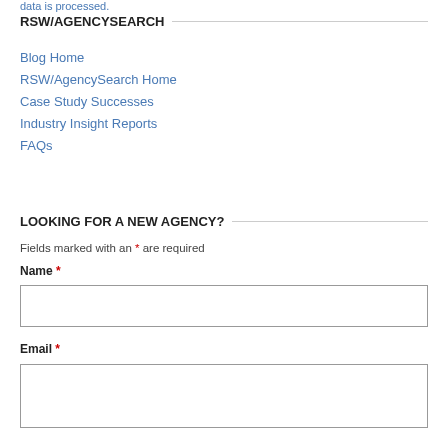data is processed.
RSW/AGENCYSEARCH
Blog Home
RSW/AgencySearch Home
Case Study Successes
Industry Insight Reports
FAQs
LOOKING FOR A NEW AGENCY?
Fields marked with an * are required
Name *
Email *